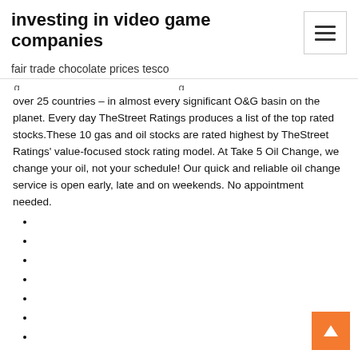investing in video game companies
fair trade chocolate prices tesco
over 25 countries – in almost every significant O&G basin on the planet. Every day TheStreet Ratings produces a list of the top rated stocks.These 10 gas and oil stocks are rated highest by TheStreet Ratings' value-focused stock rating model. At Take 5 Oil Change, we change your oil, not your schedule! Our quick and reliable oil change service is open early, late and on weekends. No appointment needed.